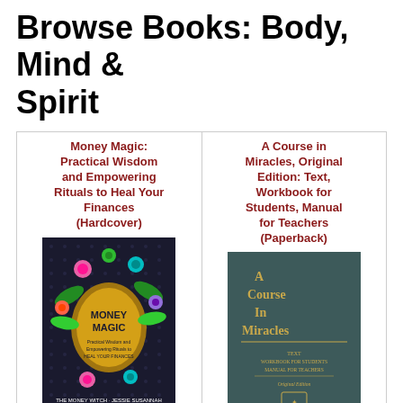Browse Books: Body, Mind & Spirit
| Book 1 | Book 2 |
| --- | --- |
| Money Magic: Practical Wisdom and Empowering Rituals to Heal Your Finances (Hardcover) | A Course in Miracles, Original Edition: Text, Workbook for Students, Manual for Teachers (Paperback) |
| [book cover image] | [book cover image] |
| By Jessie Susannah |  |